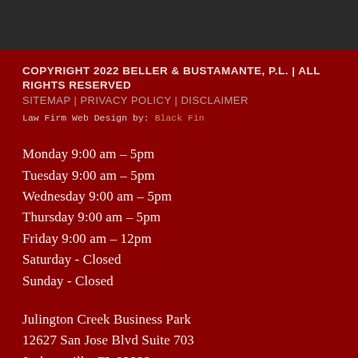COPYRIGHT 2022 BELLER & BUSTAMANTE, P.L. | ALL RIGHTS RESERVED
SITEMAP | PRIVACY POLICY | DISCLAIMER
Law Firm Web Design by: Black Fin
Monday 9:00 am – 5pm
Tuesday 9:00 am – 5pm
Wednesday 9:00 am – 5pm
Thursday 9:00 am – 5pm
Friday 9:00 am – 12pm
Saturday - Closed
Sunday - Closed
Julington Creek Business Park
12627 San Jose Blvd Suite 703
Jacksonville, FL 32223
(904) 288-4414